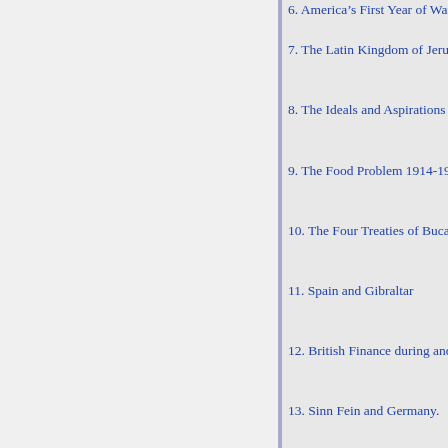6. America’s First Year of War.
7. The Latin Kingdom of Jerusal
8. The Ideals and Aspirations of
9. The Food Problem 1914-1916
10. The Four Treaties of Bucares
11. Spain and Gibraltar
12. British Finance during and a
13. Sinn Fein and Germany.
14. The Course of the War .
.
89
111
131
145
. 166
182
190